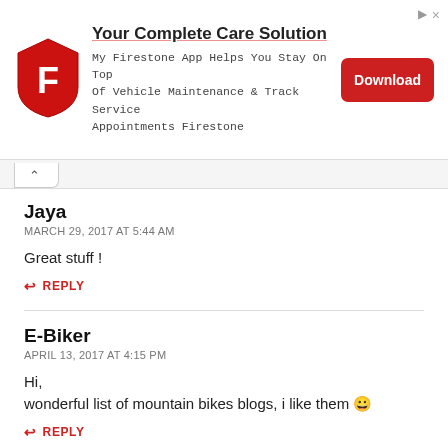[Figure (infographic): Firestone advertisement banner with logo, title 'Your Complete Care Solution', body text about My Firestone App, and a red Download button]
Jaya
MARCH 29, 2017 AT 5:44 AM
Great stuff !
REPLY
E-Biker
APRIL 13, 2017 AT 4:15 PM
Hi, wonderful list of mountain bikes blogs, i like them 😀
REPLY